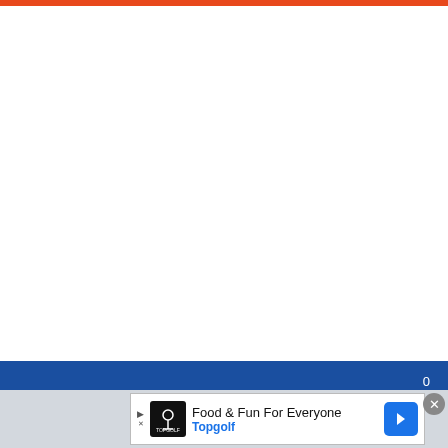[Figure (logo): Orange horizontal bar at top of page]
[Figure (logo): Only Gators logo on blue background — white text ONLY and orange text GATORS with alligator silhouette above]
[Figure (other): Advertisement banner: Topgolf logo, text Food & Fun For Everyone, Topgolf, with blue arrow icon and close button]